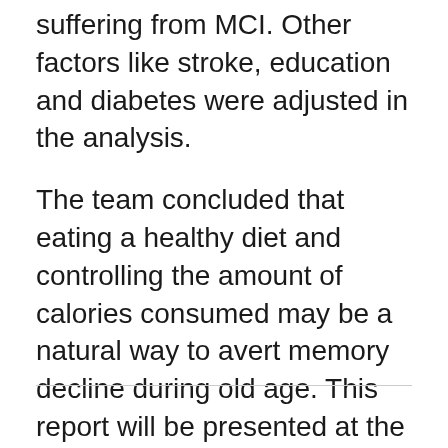suffering from MCI. Other factors like stroke, education and diabetes were adjusted in the analysis.
The team concluded that eating a healthy diet and controlling the amount of calories consumed may be a natural way to avert memory decline during old age. This report will be presented at the American Academy of Neurology's 64th Annual Meeting in New Orleans.